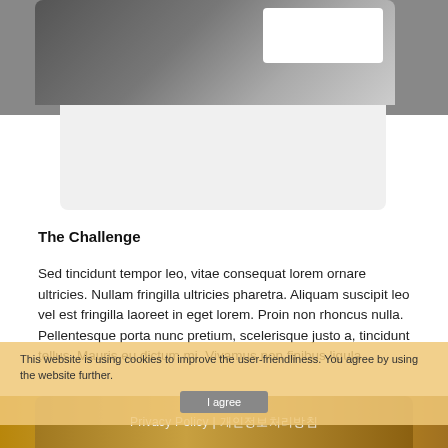[Figure (photo): Person in dark jacket, partial view, with a white rectangle overlay on the right side. Photo partially obscured by a gray card below.]
The Challenge
Sed tincidunt tempor leo, vitae consequat lorem ornare ultricies. Nullam fringilla ultricies pharetra. Aliquam suscipit leo vel est fringilla laoreet in eget lorem. Proin non rhoncus nulla. Pellentesque porta nunc pretium, scelerisque justo a, tincidunt tellus. Mauris eu dictum mi. Vivamus non finibus ligula.
This website is using cookies to improve the user-friendliness. You agree by using the website further.
I agree
[Figure (photo): Person's face partially visible in warm golden/brown tones with text overlay reading 'Privacy Policy | 개인정보처리방침']